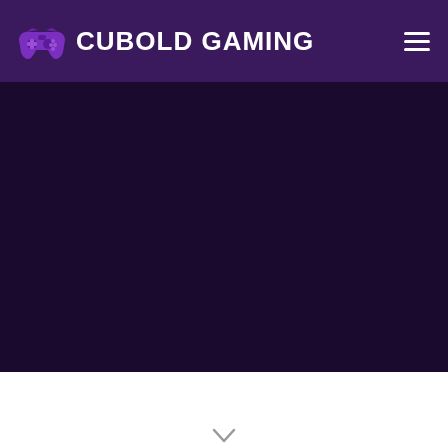CUBOLD GAMING
[Figure (illustration): Dark purple hero background section filling the main content area below the header]
[Figure (illustration): White background section at the bottom with a small downward chevron arrow icon]